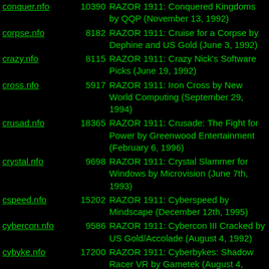conquer.nfo 10390 RAZOR 1911: Conquered Kingdoms by QQP (November 13, 1992)
corpse.nfo 8182 RAZOR 1911: Cruise for a Corpse by Dephine and US Gold (June 3, 1992)
crazy.nfo 8115 RAZOR 1911: Crazy Nick's Software Picks (June 19, 1992)
cross.nfo 5917 RAZOR 1911: Iron Cross by New World Computing (September 29, 1994)
crusad.nfo 18365 RAZOR 1911: Crusade: The Fight for Power by Greenwood Entertainment (February 6, 1996)
crystal.nfo 9698 RAZOR 1911: Crystal Slammer for Windows by Microvision (June 7th, 1993)
cspeed.nfo 15202 RAZOR 1911: Cyberspeed by Mindscape (December 12th, 1995)
cybercon.nfo 9586 RAZOR 1911: Cybercon III Cracked by US Gold/Accolade (August 4, 1992)
cybyke.nfo 17200 RAZOR 1911: Cyberbykes: Shadow Racer VR by Gametek (August 4, 1995)
cylndrx.nfo 20228 RAZOR 1911: Cylindrix by Goldtree Enterprises (April 5, 1996)
dalek.nfo 10083 RAZOR 1911: Dalek Attack by Admiral Software (December 16, 1992)